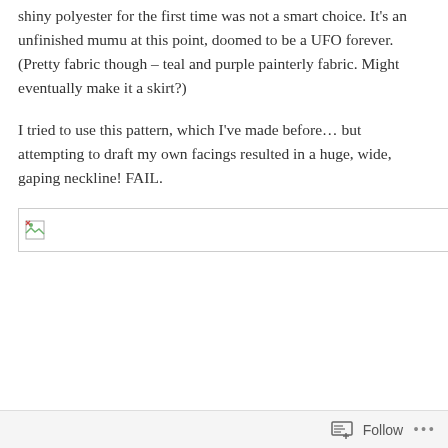shiny polyester for the first time was not a smart choice. It's an unfinished mumu at this point, doomed to be a UFO forever. (Pretty fabric though – teal and purple painterly fabric. Might eventually make it a skirt?)
I tried to use this pattern, which I've made before… but attempting to draft my own facings resulted in a huge, wide, gaping neckline! FAIL.
[Figure (photo): Broken/missing image placeholder with small broken image icon in the top-left corner]
Follow  •••